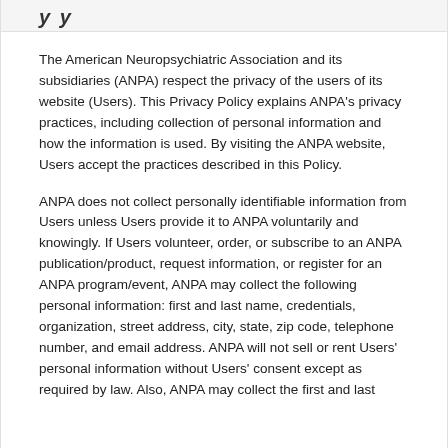y y
The American Neuropsychiatric Association and its subsidiaries (ANPA) respect the privacy of the users of its website (Users). This Privacy Policy explains ANPA's privacy practices, including collection of personal information and how the information is used. By visiting the ANPA website, Users accept the practices described in this Policy.
ANPA does not collect personally identifiable information from Users unless Users provide it to ANPA voluntarily and knowingly. If Users volunteer, order, or subscribe to an ANPA publication/product, request information, or register for an ANPA program/event, ANPA may collect the following personal information: first and last name, credentials, organization, street address, city, state, zip code, telephone number, and email address. ANPA will not sell or rent Users' personal information without Users' consent except as required by law. Also, ANPA may collect the first and last...